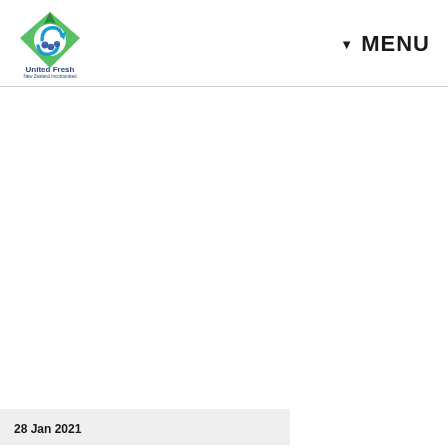[Figure (logo): United Fresh New Zealand Incorporated logo — a green and blue diamond/teardrop shape with circular swirl element and blueberries, with text 'United Fresh' and 'New Zealand Incorporated' below]
▼ MENU
28 Jan 2021